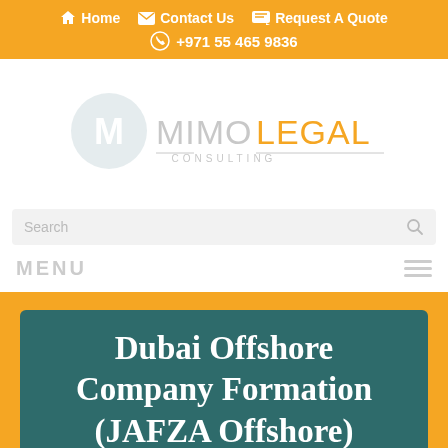Home  Contact Us  Request A Quote  +971 55 465 9836
[Figure (logo): MimoLegal Consulting logo with circular M emblem and stylized text]
Search
MENU
Dubai Offshore Company Formation (JAFZA Offshore)